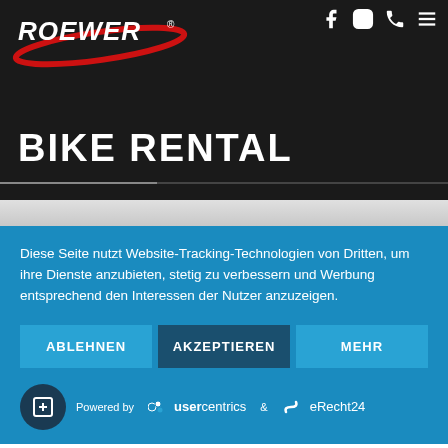[Figure (logo): Roewer brand logo with red swoosh on dark background]
[Figure (screenshot): Navigation icons: Facebook, Instagram, phone, hamburger menu on dark background]
BIKE RENTAL
Diese Seite nutzt Website-Tracking-Technologien von Dritten, um ihre Dienste anzubieten, stetig zu verbessern und Werbung entsprechend den Interessen der Nutzer anzuzeigen.
ABLEHNEN
AKZEPTIEREN
MEHR
Powered by · usercentrics & eRecht24